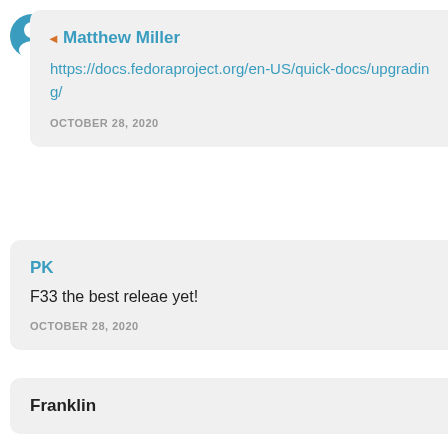[Figure (other): User avatar icon (teal circle with person silhouette)]
Matthew Miller
https://docs.fedoraproject.org/en-US/quick-docs/upgrading/
OCTOBER 28, 2020
PK
F33 the best releae yet!
OCTOBER 28, 2020
Franklin